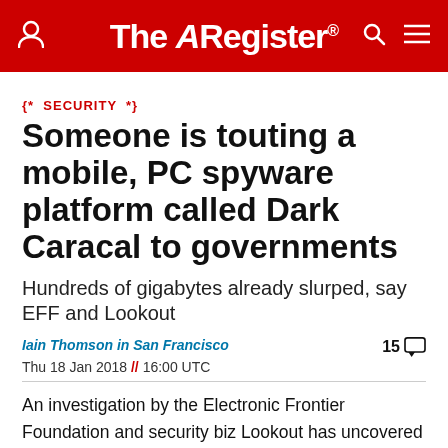The Register
{* SECURITY *}
Someone is touting a mobile, PC spyware platform called Dark Caracal to governments
Hundreds of gigabytes already slurped, say EFF and Lookout
Iain Thomson in San Francisco
Thu 18 Jan 2018 // 16:00 UTC
An investigation by the Electronic Frontier Foundation and security biz Lookout has uncovered Dark Caracal, a surveillance-toolkit-for-hire that has been used to suck huge amounts of data from Android mobiles and